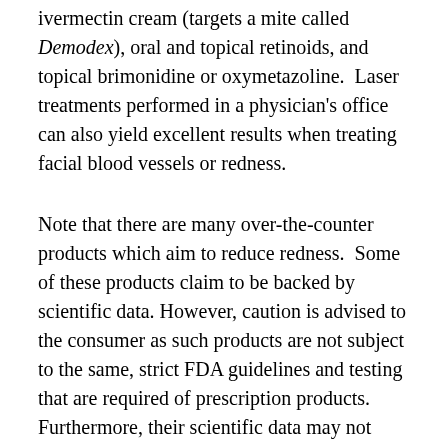ivermectin cream (targets a mite called Demodex), oral and topical retinoids, and topical brimonidine or oxymetazoline.  Laser treatments performed in a physician's office can also yield excellent results when treating facial blood vessels or redness.
Note that there are many over-the-counter products which aim to reduce redness.  Some of these products claim to be backed by scientific data. However, caution is advised to the consumer as such products are not subject to the same, strict FDA guidelines and testing that are required of prescription products. Furthermore, their scientific data may not translate into meaningful, visible results.